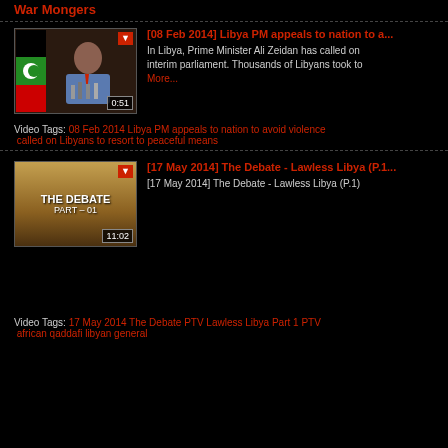War Mongers
[Figure (screenshot): Video thumbnail showing a man at a press conference with Libyan flag, duration 0:51]
[08 Feb 2014] Libya PM appeals to nation to a...
In Libya, Prime Minister Ali Zeidan has called on interim parliament. Thousands of Libyans took to More...
Video Tags: 08 Feb 2014 Libya PM appeals to nation to avoid violence called on Libyans to resort to peaceful means
[Figure (screenshot): Video thumbnail for The Debate - Part 01, duration 11:02]
[17 May 2014] The Debate - Lawless Libya (P.1...
[17 May 2014] The Debate - Lawless Libya (P.1)
Video Tags: 17 May 2014 The Debate PTV Lawless Libya Part 1 PTV african qaddafi libyan general